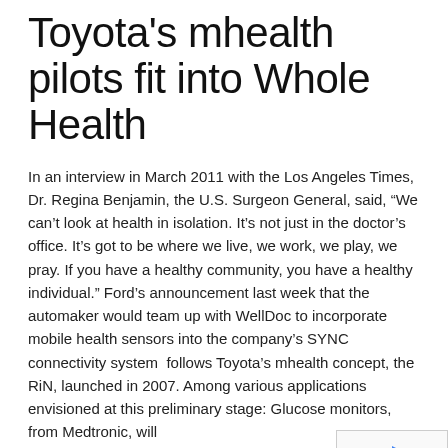Toyota's mhealth pilots fit into Whole Health
In an interview in March 2011 with the Los Angeles Times, Dr. Regina Benjamin, the U.S. Surgeon General, said, “We can’t look at health in isolation. It’s not just in the doctor’s office. It’s got to be where we live, we work, we play, we pray. If you have a healthy community, you have a healthy individual.” Ford’s announcement last week that the automaker would team up with WellDoc to incorporate mobile health sensors into the company’s SYNC connectivity system  follows Toyota’s mhealth concept, the RiN, launched in 2007. Among various applications envisioned at this preliminary stage: Glucose monitors, from Medtronic, will
READ MORE   Comments(5)